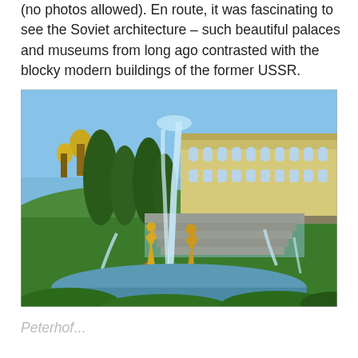(no photos allowed). En route, it was fascinating to see the Soviet architecture – such beautiful palaces and museums from long ago contrasted with the blocky modern buildings of the former USSR.
[Figure (photo): Outdoor photo of Peterhof palace and grand cascade fountains in Russia. In the foreground, golden statues and large water fountains spray dramatically in front of a wide ornamental pond. A grand staircase of cascading water leads up to the yellow Baroque palace in the background. Tall evergreen trees flank the scene on the left, and the sky is bright blue. Tourists line the upper terrace.]
Peterhof...